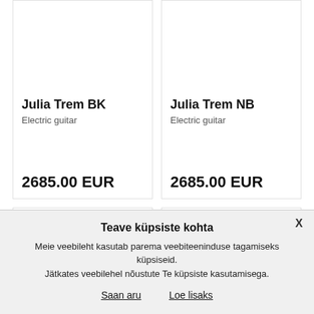[Figure (photo): Product image area for Julia Trem BK electric guitar (white/blank)]
Julia Trem BK
Electric guitar
2685.00 EUR
[Figure (photo): Product image area for Julia Trem NB electric guitar (white/blank)]
Julia Trem NB
Electric guitar
2685.00 EUR
Kramer
Kramer
Teave küpsiste kohta
Meie veebileht kasutab parema veebiteeninduse tagamiseks küpsiseid. Jätkates veebilehel nõustute Te küpsiste kasutamisega.
Saan aru
Loe lisaks